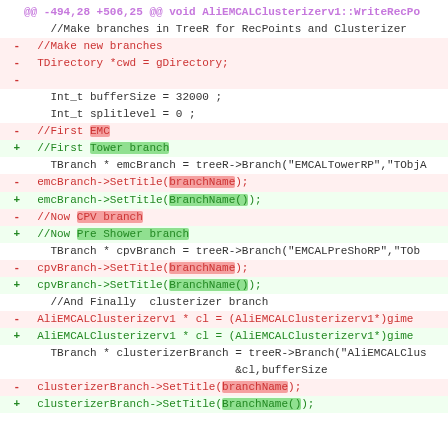[Figure (screenshot): A unified diff (code diff) showing changes to AliEMCALClusterizerv1::WriteRecPoints method. Removed lines shown in red with '-' prefix, added lines in green with '+' prefix. Highlights on specific changed tokens (branchName -> BranchName(), CPV branch -> Pre Shower branch, EMC -> Tower branch, //Make new branches block removed). Context lines in black.]